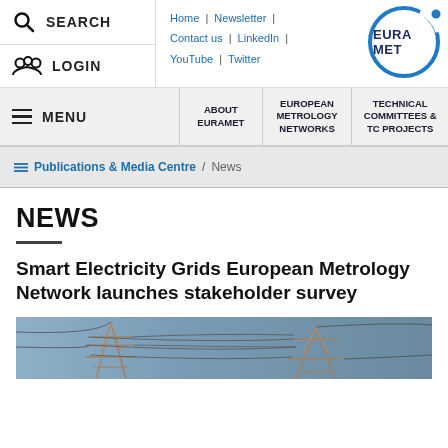SEARCH | LOGIN
Home | Newsletter | Contact us | LinkedIn | YouTube | Twitter
[Figure (logo): EURAMET circular logo with blue ring and dot]
MENU | ABOUT EURAMET | EUROPEAN METROLOGY NETWORKS | TECHNICAL COMMITTEES & TC PROJECTS
Publications & Media Centre / News
NEWS
Smart Electricity Grids European Metrology Network launches stakeholder survey
[Figure (photo): Electricity transmission pylons and power lines against a grey-blue sky]